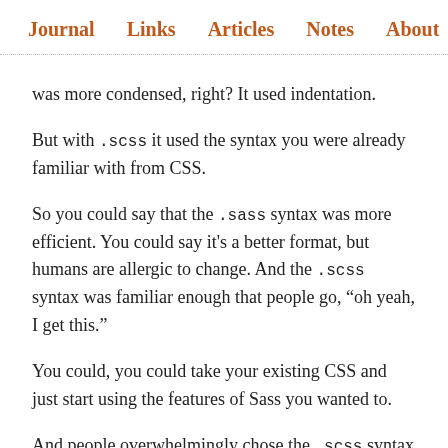Journal   Links   Articles   Notes   About
was more condensed, right? It used indentation.
But with .scss it used the syntax you were already familiar with from CSS.
So you could say that the .sass syntax was more efficient. You could say it's a better format, but humans are allergic to change. And the .scss syntax was familiar enough that people go, “oh yeah, I get this.”
You could, you could take your existing CSS and just start using the features of Sass you wanted to.
And people overwhelmingly chose the .scss syntax over the .sass syntax. I got to meet Hampton Catlin who invented Sass and he confirmed the numbers for me. He said, yeah, it was a no brainer. Basically the .sass syntax lacks familiarity.